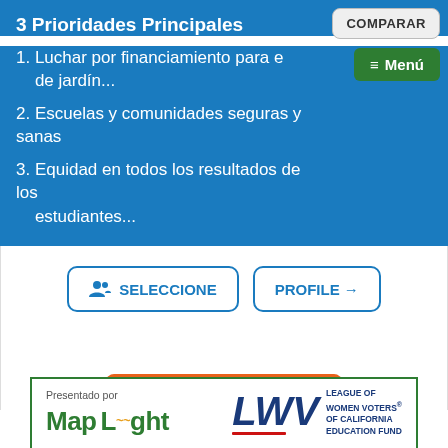3 Prioridades Principales
1. Luchar por financiamiento para e de jardín...
2. Escuelas y comunidades seguras y sanas
3. Equidad en todos los resultados de los estudiantes...
[Figure (screenshot): COMPARAR button (grey, top right) and green Menú button]
[Figure (screenshot): SELECCIONE button with users icon and PROFILE → button]
[Figure (screenshot): Orange + ELIGE CANDIDATO button (partially visible)]
[Figure (logo): Presentado por MapLight and LWV League of Women Voters of California Education Fund logos in green-bordered footer box]